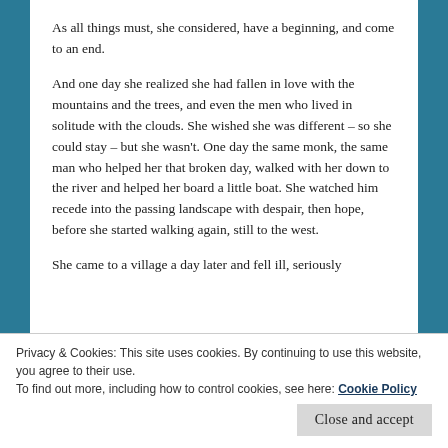As all things must, she considered, have a beginning, and come to an end.
And one day she realized she had fallen in love with the mountains and the trees, and even the men who lived in solitude with the clouds. She wished she was different – so she could stay – but she wasn't. One day the same monk, the same man who helped her that broken day, walked with her down to the river and helped her board a little boat. She watched him recede into the passing landscape with despair, then hope, before she started walking again, still to the west.
She came to a village a day later and fell ill, seriously
Privacy & Cookies: This site uses cookies. By continuing to use this website, you agree to their use.
To find out more, including how to control cookies, see here: Cookie Policy